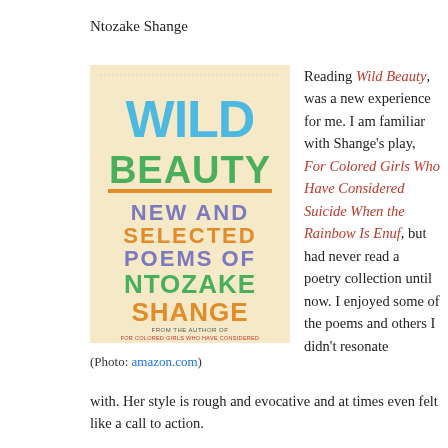Ntozake Shange
[Figure (illustration): Book cover of Wild Beauty: New and Selected Poems of Ntozake Shange. Colorful typography on a cream/beige background with the words WILD in blue, BEAUTY in green, NEW AND SELECTED POEMS OF in purple/blue, NTOZAKE in green, SHANGE in orange. Subtitle at bottom reads FROM THE AUTHOR OF FOR COLORED GIRLS WHO HAVE CONSIDERED.]
(Photo: amazon.com)
Reading Wild Beauty, was a new experience for me. I am familiar with Shange's play, For Colored Girls Who Have Considered Suicide When the Rainbow Is Enuf, but had never read a poetry collection until now. I enjoyed some of the poems and others I didn't resonate with. Her style is rough and evocative and at times even felt like a call to action.